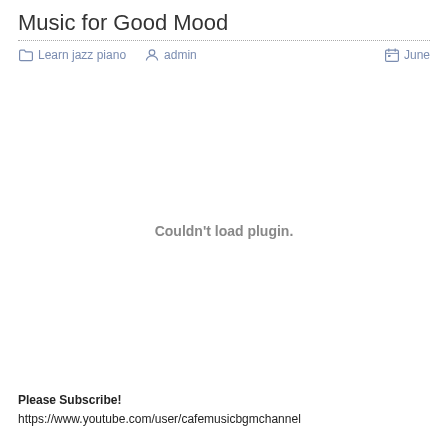Music for Good Mood
Learn jazz piano   admin   June
[Figure (other): Embedded plugin area showing 'Couldn't load plugin.' error message]
Please Subscribe!
https://www.youtube.com/user/cafemusicbgmchannel